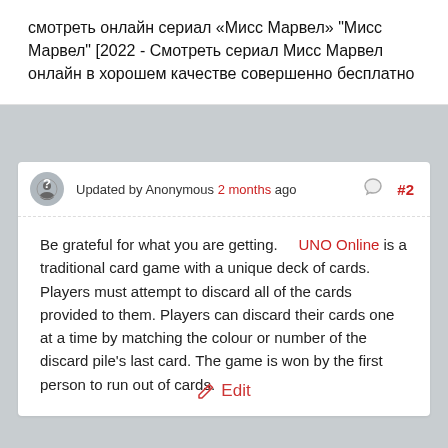смотреть онлайн сериал «Мисс Марвел» "Мисс Марвел" [2022 - Смотреть сериал Мисс Марвел онлайн в хорошем качестве совершенно бесплатно
Updated by Anonymous 2 months ago  #2
Be grateful for what you are getting.    UNO Online is a traditional card game with a unique deck of cards. Players must attempt to discard all of the cards provided to them. Players can discard their cards one at a time by matching the colour or number of the discard pile's last card. The game is won by the first person to run out of cards.
Edit